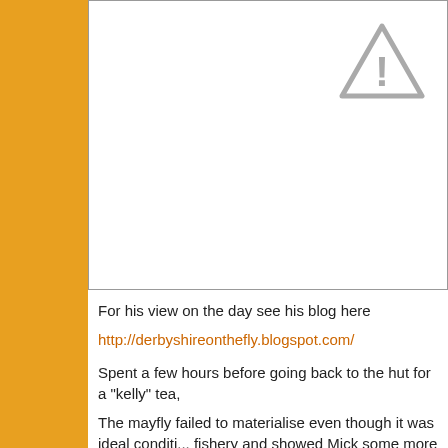[Figure (other): Broken/missing image placeholder with warning triangle icon, bordered box]
For his view on the day see his blog here
http://derbyshireonthefly.blogspot.com/
Spent a few hours before going back to the hut for a "kelly" tea,
The mayfly failed to materialise even though it was ideal conditi... fishery and showed Mick some more riffles, runs and pools whe...
Went back for a bite to eat of Hancocks pork pie and cooked ha... Theakstons Old Peculiar lovely, however. Just as I sat down at... landing on me and the grass. Once we both stopped laughing...